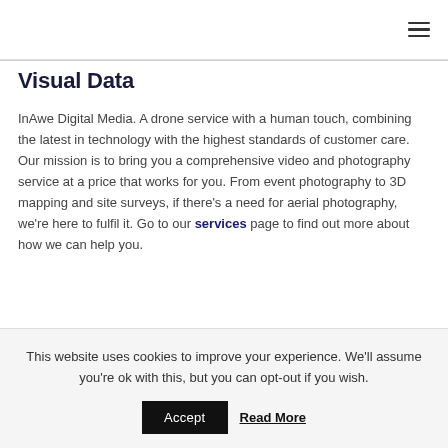≡
Visual Data
InAwe Digital Media. A drone service with a human touch, combining the latest in technology with the highest standards of customer care. Our mission is to bring you a comprehensive video and photography service at a price that works for you. From event photography to 3D mapping and site surveys, if there's a need for aerial photography, we're here to fulfil it. Go to our services page to find out more about how we can help you.
This website uses cookies to improve your experience. We'll assume you're ok with this, but you can opt-out if you wish. Accept Read More